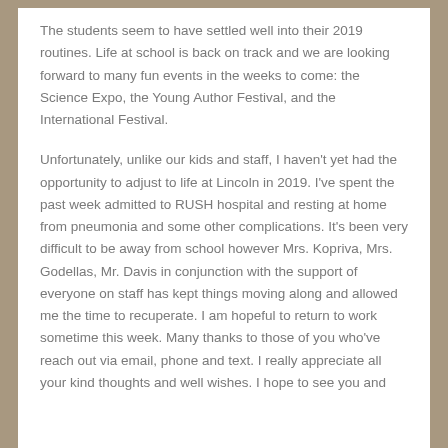The students seem to have settled well into their 2019 routines. Life at school is back on track and we are looking forward to many fun events in the weeks to come: the Science Expo, the Young Author Festival, and the International Festival.
Unfortunately, unlike our kids and staff, I haven't yet had the opportunity to adjust to life at Lincoln in 2019. I've spent the past week admitted to RUSH hospital and resting at home from pneumonia and some other complications. It's been very difficult to be away from school however Mrs. Kopriva, Mrs. Godellas, Mr. Davis in conjunction with the support of everyone on staff has kept things moving along and allowed me the time to recuperate. I am hopeful to return to work sometime this week. Many thanks to those of you who've reach out via email, phone and text. I really appreciate all your kind thoughts and well wishes. I hope to see you and